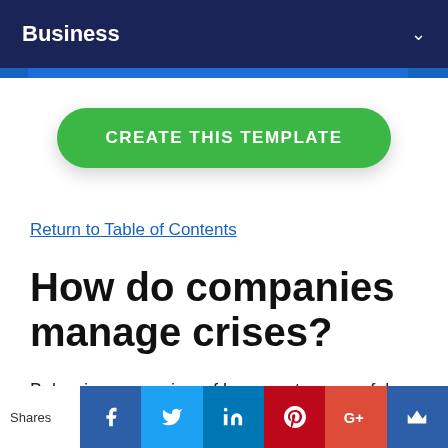Business
[Figure (other): Green rounded button labeled CREATE THIS TEMPLATE]
Return to Table of Contents
How do companies manage crises?
Below is an overview of how most successful companies manage crises.
[Figure (other): Social sharing bar with Shares label and icons for Facebook, Twitter, LinkedIn, Pinterest, Google+, and crown/bookmark]